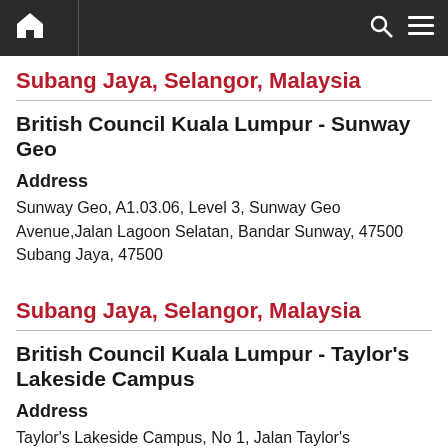Navigation bar with home, search, and menu icons
Subang Jaya, Selangor, Malaysia
British Council Kuala Lumpur - Sunway Geo
Address
Sunway Geo, A1.03.06, Level 3, Sunway Geo Avenue,Jalan Lagoon Selatan, Bandar Sunway, 47500 Subang Jaya, 47500
Subang Jaya, Selangor, Malaysia
British Council Kuala Lumpur - Taylor's Lakeside Campus
Address
Taylor's Lakeside Campus, No 1, Jalan Taylor's